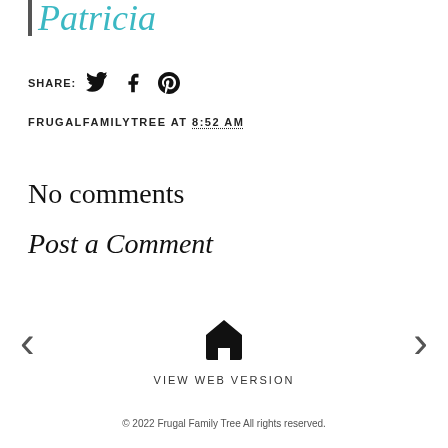Patricia
SHARE:
FRUGALFAMILYTREE AT 8:52 AM
No comments
Post a Comment
< (previous)
[Figure (illustration): Home icon (house silhouette)]
> (next)
VIEW WEB VERSION
© 2022 Frugal Family Tree All rights reserved.